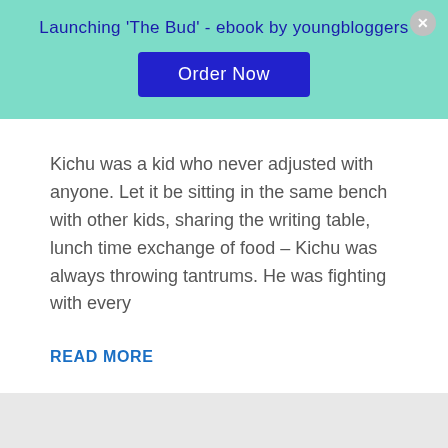Launching 'The Bud' - ebook by youngbloggers
Order Now
Kichu was a kid who never adjusted with anyone. Let it be sitting in the same bench with other kids, sharing the writing table, lunch time exchange of food – Kichu was always throwing tantrums. He was fighting with every
READ MORE